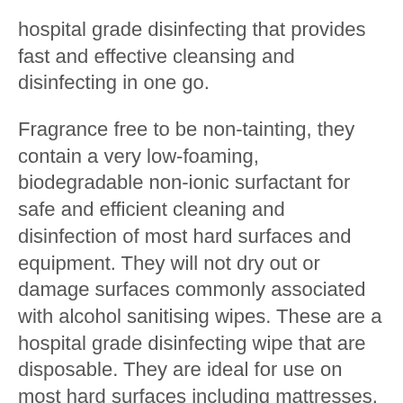hospital grade disinfecting that provides fast and effective cleansing and disinfecting in one go.
Fragrance free to be non-tainting, they contain a very low-foaming, biodegradable non-ionic surfactant for safe and efficient cleaning and disinfection of most hard surfaces and equipment. They will not dry out or damage surfaces commonly associated with alcohol sanitising wipes. These are a hospital grade disinfecting wipe that are disposable. They are ideal for use on most hard surfaces including mattresses, beds, tables, work tops, trays, trolleys, hospital equipment, desks, phones, keyboards and chairs.